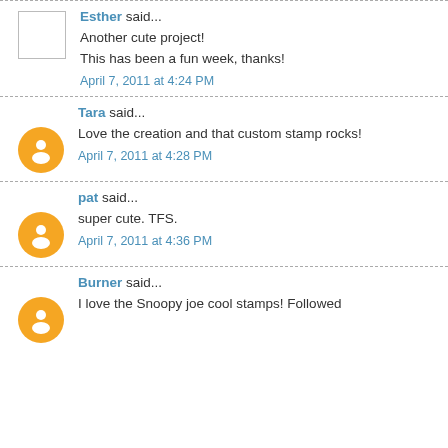Esther said... Another cute project! This has been a fun week, thanks! April 7, 2011 at 4:24 PM
Tara said... Love the creation and that custom stamp rocks! April 7, 2011 at 4:28 PM
pat said... super cute. TFS. April 7, 2011 at 4:36 PM
Burner said... I love the Snoopy joe cool stamps! Followed